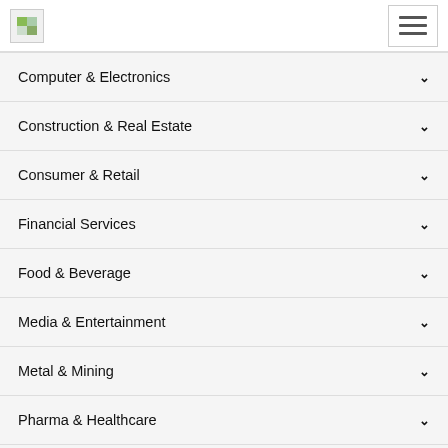Logo and navigation menu
Computer & Electronics
Construction & Real Estate
Consumer & Retail
Financial Services
Food & Beverage
Media & Entertainment
Metal & Mining
Pharma & Healthcare
Energy & Utilities